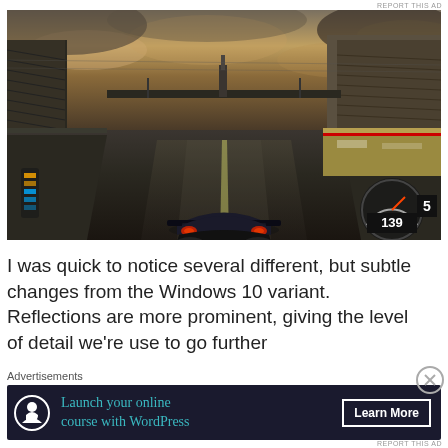REPORT THIS AD
[Figure (screenshot): Racing video game screenshot showing a dark sports car on a wet track at dusk with grandstands on both sides, dramatic cloudy sky, and a speedometer HUD showing speed 139 and gear 5 in the bottom right corner.]
I was quick to notice several different, but subtle changes from the Windows 10 variant. Reflections are more prominent, giving the level of detail we're use to go further
Advertisements
[Figure (infographic): Advertisement banner with dark navy background. Left side shows a circular icon with a person/tree symbol. Center text in teal reads 'Launch your online course with WordPress'. Right side has a white-bordered button reading 'Learn More'.]
REPORT THIS AD